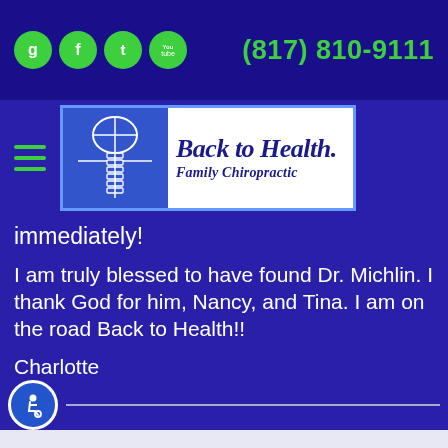(817) 810-9111
[Figure (logo): Back to Health Family Chiropractic logo with spine/head diagram on left and cursive text on right]
immediately!
I am truly blessed to have found Dr. Michlin. I thank God for him, Nancy, and Tina. I am on the road Back to Health!!
Charlotte
61 Year Old Female, Data Clerk, Fort Worth, Texas